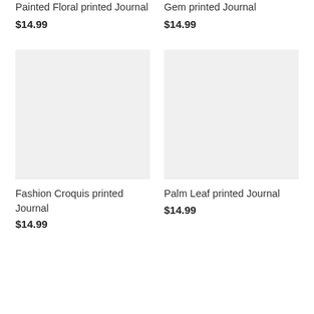Painted Floral printed Journal
$14.99
Gem printed Journal
$14.99
[Figure (photo): Product image placeholder for Fashion Croquis printed Journal - light gray rectangle]
[Figure (photo): Product image placeholder for Palm Leaf printed Journal - light gray rectangle]
Fashion Croquis printed Journal
$14.99
Palm Leaf printed Journal
$14.99